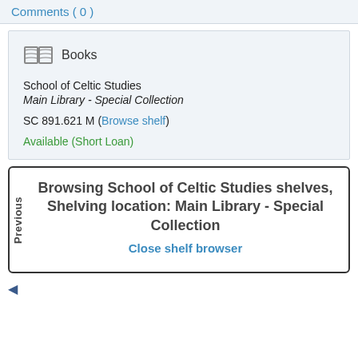Comments (0)
Books
School of Celtic Studies
Main Library - Special Collection
SC 891.621 M (Browse shelf)
Available (Short Loan)
Browsing School of Celtic Studies shelves, Shelving location: Main Library - Special Collection
Close shelf browser
◄